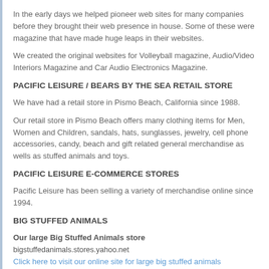In the early days we helped pioneer web sites for many companies before they brought their web presence in house. Some of these were magazine that have made huge leaps in their websites.
We created the original websites for Volleyball magazine, Audio/Video Interiors Magazine and Car Audio Electronics Magazine.
PACIFIC LEISURE / BEARS BY THE SEA RETAIL STORE
We have had a retail store in Pismo Beach, California since 1988.
Our retail store in Pismo Beach offers many clothing items for Men, Women and Children, sandals, hats, sunglasses, jewelry, cell phone accessories, candy, beach and gift related general merchandise as wells as stuffed animals and toys.
PACIFIC LEISURE E-COMMERCE STORES
Pacific Leisure has been selling a variety of merchandise online since 1994.
BIG STUFFED ANIMALS
Our large Big Stuffed Animals store
bigstuffedanimals.stores.yahoo.net
Click here to visit our online site for large big stuffed animals